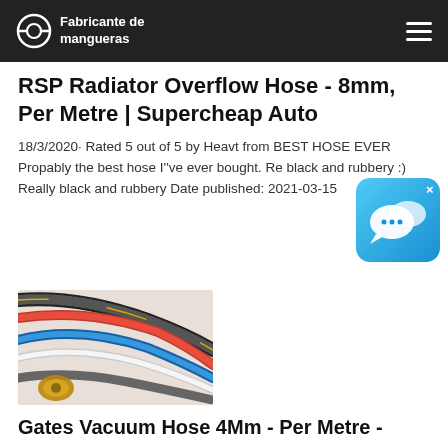Fabricante de mangueras
RSP Radiator Overflow Hose - 8mm, Per Metre | Supercheap Auto
18/3/2020· Rated 5 out of 5 by Heavt from BEST HOSE EVER Propably the best hose I''ve ever bought. Really black and rubbery :) Really black and rubbery Date published: 2021-03-15
[Figure (photo): Multiple automotive hoses of various colors and sizes including braided, rubber, and metal-end hoses arranged in a fan pattern]
Gates Vacuum Hose 4Mm - Per Metre -